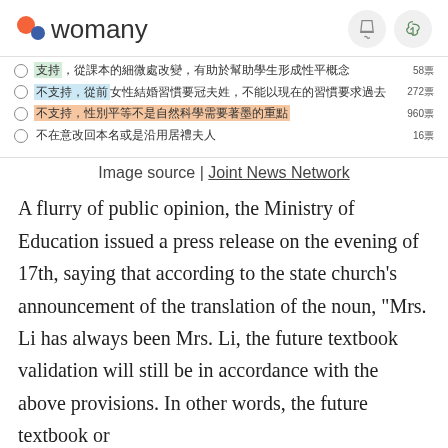womany
支持，從課本的細微處改變，有助於幫助學生形成性平概念 58票
不支持，從前女性結婚習慣要冠夫姓，不能以現在的習慣要求過去 272票
不支持，性別平等不是自然科學需要著墨的重點 960票
不在意改回本名或是沿用居禮夫人 16票
Image source | Joint News Network
A flurry of public opinion, the Ministry of Education issued a press release on the evening of 17th, saying that according to the state church's announcement of the translation of the noun, "Mrs. Li has always been Mrs. Li, the future textbook validation will still be in accordance with the above provisions. In other words, the future textbook or